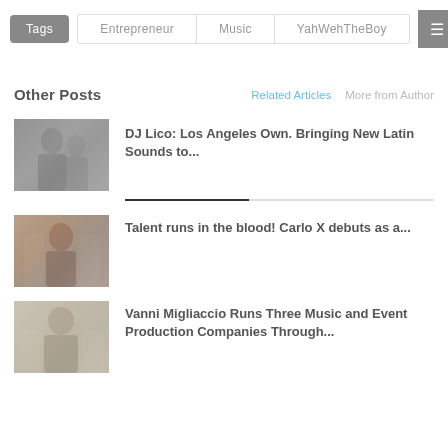Tags  Entrepreneur  Music  YahWehTheBoy
Other Posts
Related Articles   More from Author
[Figure (photo): Thumbnail photo of DJ Lico]
DJ Lico: Los Angeles Own. Bringing New Latin Sounds to...
[Figure (photo): Thumbnail photo of Carlo X]
Talent runs in the blood! Carlo X debuts as a...
[Figure (photo): Thumbnail photo of Vanni Migliaccio]
Vanni Migliaccio Runs Three Music and Event Production Companies Through...